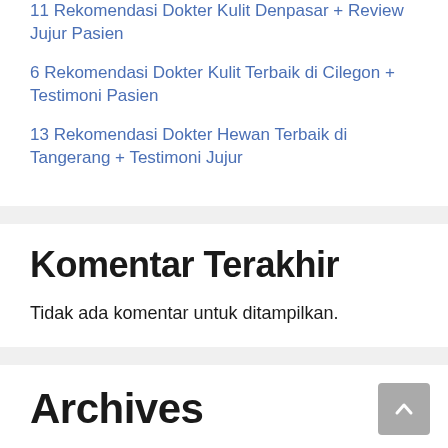11 Rekomendasi Dokter Kulit Denpasar + Review Jujur Pasien
6 Rekomendasi Dokter Kulit Terbaik di Cilegon + Testimoni Pasien
13 Rekomendasi Dokter Hewan Terbaik di Tangerang + Testimoni Jujur
Komentar Terakhir
Tidak ada komentar untuk ditampilkan.
Archives